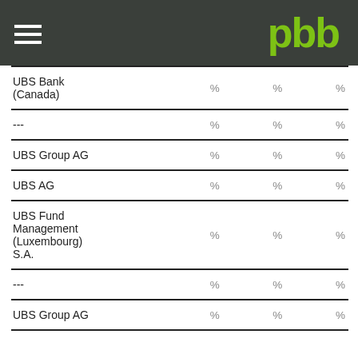pbb
|  |  |  |  |
| --- | --- | --- | --- |
| UBS Bank (Canada) | % | % | % |
| --- | % | % | % |
| UBS Group AG | % | % | % |
| UBS AG | % | % | % |
| UBS Fund Management (Luxembourg) S.A. | % | % | % |
| --- | % | % | % |
| UBS Group AG | % | % | % |